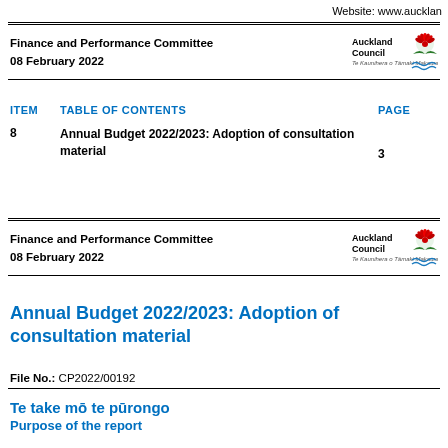Website: www.aucklan...
Finance and Performance Committee
08 February 2022
| ITEM | TABLE OF CONTENTS | PAGE |
| --- | --- | --- |
| 8 | Annual Budget 2022/2023: Adoption of consultation material | 3 |
Finance and Performance Committee
08 February 2022
Annual Budget 2022/2023: Adoption of consultation material
File No.: CP2022/00192
Te take mō te pūrongo
Purpose of the report